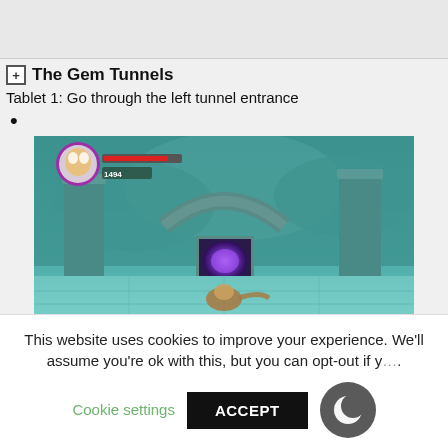The Gem Tunnels
Tablet 1: Go through the left tunnel entrance
•
[Figure (screenshot): Video game screenshot showing a teal/aqua-toned underground gem tunnel environment with stone columns, a glowing purple portal doorway in the center background, a stone arch, and an animal character on a tiled stone floor. HUD visible in upper left with character portrait, health bar, and score reading 1494.]
This website uses cookies to improve your experience. We'll assume you're ok with this, but you can opt-out if y….
Cookie settings
ACCEPT